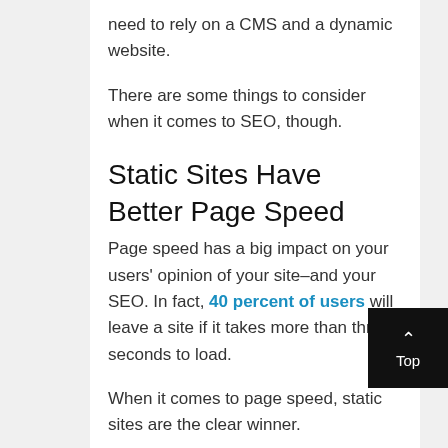need to rely on a CMS and a dynamic website.
There are some things to consider when it comes to SEO, though.
Static Sites Have Better Page Speed
Page speed has a big impact on your users' opinion of your site–and your SEO. In fact, 40 percent of users will leave a site if it takes more than three seconds to load.
When it comes to page speed, static sites are the clear winner.